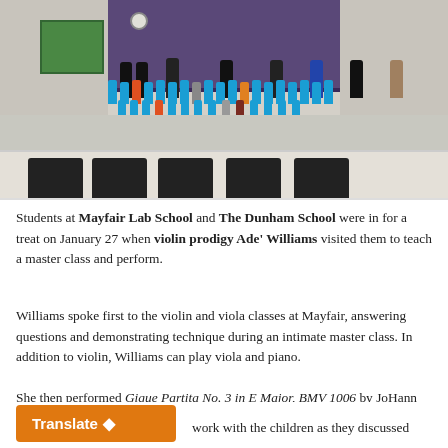[Figure (photo): Group photo of students and teachers at Mayfair Lab School in a gymnasium/auditorium. Most students wear bright blue t-shirts. A stage with purple curtains is visible in the background. Folding chairs are visible in the foreground.]
Students at Mayfair Lab School and The Dunham School were in for a treat on January 27 when violin prodigy Ade' Williams visited them to teach a master class and perform.
Williams spoke first to the violin and viola classes at Mayfair, answering questions and demonstrating technique during an intimate master class. In addition to violin, Williams can play viola and piano.
She then performed Gigue Partita No. 3 in E Major, BMV 1006 by JoHann Sebastian Bach for all students at the Mayfair site.
work with the children as they discussed